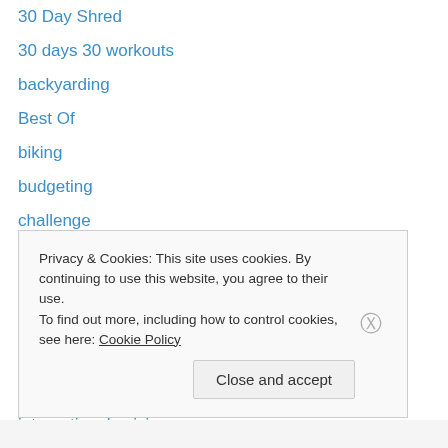30 Day Shred
30 days 30 workouts
backyarding
Best Of
biking
budgeting
challenge
cider
coffee
crafty project
fuelband
guitar
international cuisine
photography
Privacy & Cookies: This site uses cookies. By continuing to use this website, you agree to their use. To find out more, including how to control cookies, see here: Cookie Policy
Close and accept